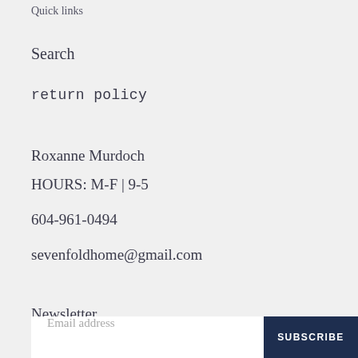Quick links
Search
return policy
Roxanne Murdoch
HOURS: M-F | 9-5
604-961-0494
sevenfoldhome@gmail.com
Newsletter
Email address
SUBSCRIBE